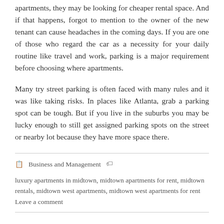apartments, they may be looking for cheaper rental space. And if that happens, forgot to mention to the owner of the new tenant can cause headaches in the coming days. If you are one of those who regard the car as a necessity for your daily routine like travel and work, parking is a major requirement before choosing where apartments.
Many try street parking is often faced with many rules and it was like taking risks. In places like Atlanta, grab a parking spot can be tough. But if you live in the suburbs you may be lucky enough to still get assigned parking spots on the street or nearby lot because they have more space there.
Business and Management   luxury apartments in midtown, midtown apartments for rent, midtown rentals, midtown west apartments, midtown west apartments for rent       Leave a comment